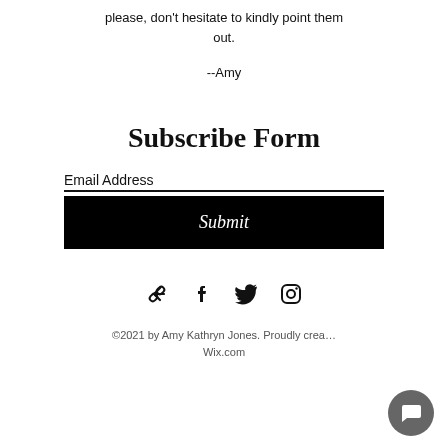please, don't hesitate to kindly point them out.
--Amy
Subscribe Form
Email Address
Submit
[Figure (infographic): Social media icons: link, Facebook, Twitter, Instagram]
©2021 by Amy Kathryn Jones. Proudly created with Wix.com